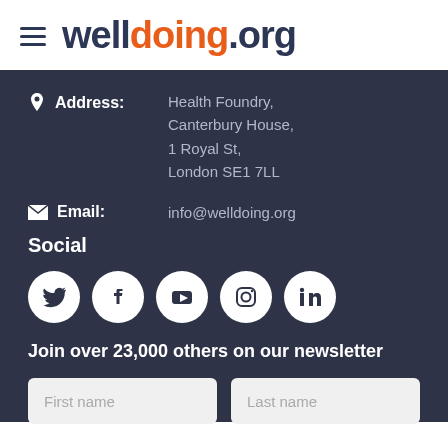welldoing.org
Address: Health Foundry, Canterbury House, 1 Royal St, London SE1 7LL
Email: info@welldoing.org
Social
[Figure (illustration): Social media icons: Twitter, Facebook, YouTube, Instagram, LinkedIn]
Join over 23,000 others on our newsletter
First name | Last name